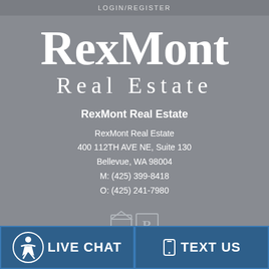LOGIN/REGISTER
RexMont Real Estate
RexMont Real Estate
RexMont Real Estate
400 112TH AVE NE, Suite 130
Bellevue, WA 98004
M: (425) 399-8418
O: (425) 241-7980
[Figure (logo): Equal Housing and Realtor logo icons]
LIVE CHAT
TEXT US